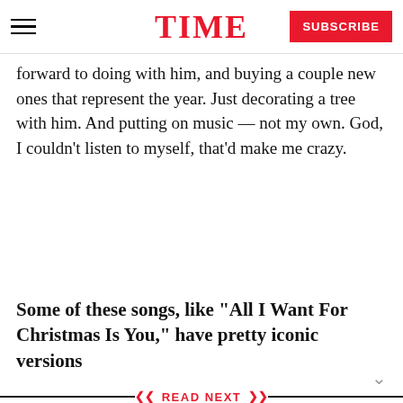TIME | SUBSCRIBE
forward to doing with him, and buying a couple new ones that represent the year. Just decorating a tree with him. And putting on music — not my own. God, I couldn't listen to myself, that'd make me crazy.
Some of these songs, like “All I Want For Christmas Is You,” have pretty iconic versions
READ NEXT
[Figure (photo): Dancing With the Stars show scene with performers on stage]
Dancing With the Stars Watch: The Switch-Up